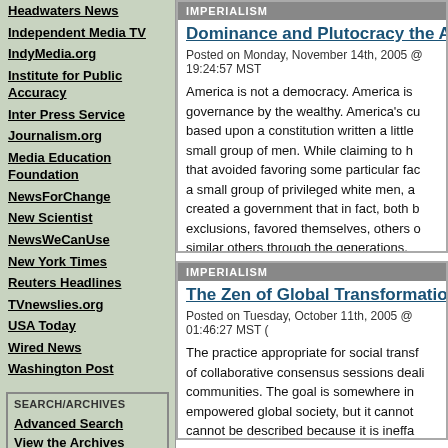Headwaters News
Independent Media TV
IndyMedia.org
Institute for Public Accuracy
Inter Press Service
Journalism.org
Media Education Foundation
NewsForChange
New Scientist
NewsWeCanUse
New York Times
Reuters Headlines
TVnewslies.org
USA Today
Wired News
Washington Post
SEARCH/ARCHIVES
Advanced Search
View the Archives
[Figure (illustration): Small illustration/image at bottom left]
IMPERIALISM
Dominance and Plutocracy the Americ...
Posted on Monday, November 14th, 2005 @ 19:24:57 MST
America is not a democracy. America is governance by the wealthy. America's cu based upon a constitution written a little small group of men. While claiming to h that avoided favoring some particular fa a small group of privileged white men, a created a government that in fact, both b exclusions, favored themselves, others o similar others through the generations.
IMPERIALISM
The Zen of Global Transformation: th...
Posted on Tuesday, October 11th, 2005 @ 01:46:27 MST
The practice appropriate for social transf of collaborative consensus sessions deal communities. The goal is somewhere in empowered global society, but it cannot cannot be described because it is ineffa